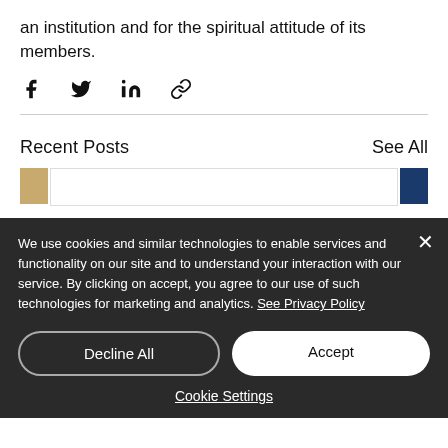an institution and for the spiritual attitude of its members.
[Figure (other): Social sharing icons: Facebook, Twitter, LinkedIn, Link/chain]
Recent Posts
See All
[Figure (other): Partial preview thumbnails of recent posts — a tan/gold thumbnail on the left, a white card in center, and a dark blue thumbnail on the right]
We use cookies and similar technologies to enable services and functionality on our site and to understand your interaction with our service. By clicking on accept, you agree to our use of such technologies for marketing and analytics. See Privacy Policy
Decline All
Accept
Cookie Settings